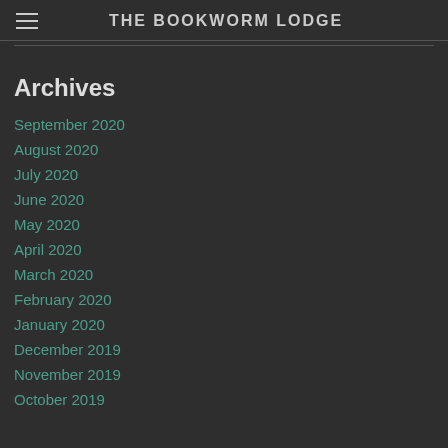THE BOOKWORM LODGE
Archives
September 2020
August 2020
July 2020
June 2020
May 2020
April 2020
March 2020
February 2020
January 2020
December 2019
November 2019
October 2019